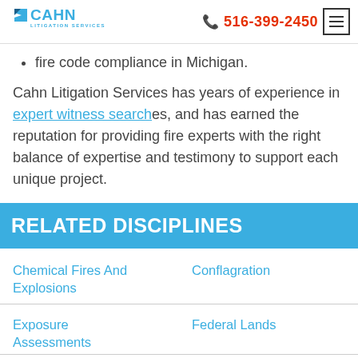CAHN LITIGATION SERVICES | 516-399-2450
fire code compliance in Michigan.
Cahn Litigation Services has years of experience in expert witness searches, and has earned the reputation for providing fire experts with the right balance of expertise and testimony to support each unique project.
RELATED DISCIPLINES
Chemical Fires And Explosions
Conflagration
Exposure Assessments
Federal Lands